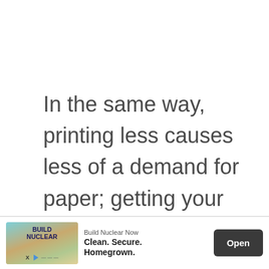In the same way, printing less causes less of a demand for paper; getting your bills through e-mail instead of a printed copy in the mail will decrease the demand for paper.
[Figure (other): Advertisement banner: 'Build Nuclear Now' with image of nuclear plant, tagline 'Clean. Secure. Homegrown.' and an Open button]